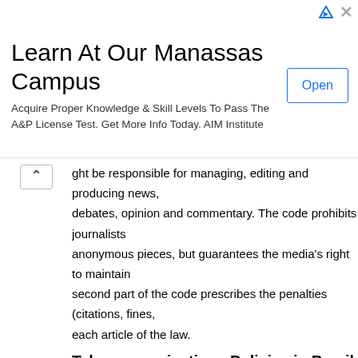[Figure (screenshot): Advertisement banner: 'Learn At Our Manassas Campus' with Open button and ad icons]
ght be responsible for managing, editing and producing news, debates, opinion and commentary. The code prohibits journalists anonymous pieces, but guarantees the media's right to maintain second part of the code prescribes the penalties (citations, fines, each article of the law.
Telecommunications Policies in Brazil
A new Telecommunications Code ( Lei Geral das Telecomunica guarantee universal access to telecommunications to all Brazilia created a national telecommunications agency ( Agéncia Nacion responsible for granting telecommunications licenses. In Brazil, government rules the air-waves, but the private sector owns the Communications, which still controls the granting of broadcast